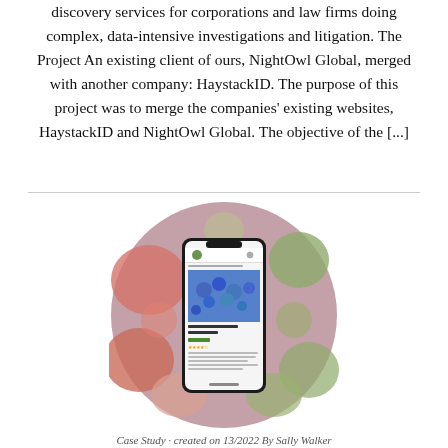discovery services for corporations and law firms doing complex, data-intensive investigations and litigation. The Project An existing client of ours, NightOwl Global, merged with another company: HaystackID. The purpose of this project was to merge the companies' existing websites, HaystackID and NightOwl Global. The objective of the [...]
[Figure (photo): A circular photo showing a smartphone displaying a plant/flower e-commerce website (showing Lobelia Laguna Dark Blue product for $6.69), set against a blurred background of colorful flowers.]
Case Study · created on 13/2022 By Sally Walker